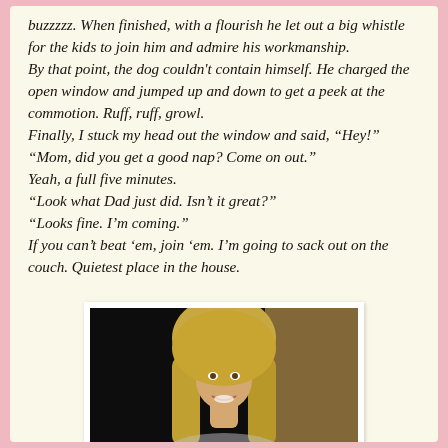buzzzzz. When finished, with a flourish he let out a big whistle for the kids to join him and admire his workmanship. By that point, the dog couldn't contain himself. He charged the open window and jumped up and down to get a peek at the commotion. Ruff, ruff, growl. Finally, I stuck my head out the window and said, "Hey!" "Mom, did you get a good nap? Come on out." Yeah, a full five minutes. "Look what Dad just did. Isn't it great?" "Looks fine. I'm coming." If you can't beat 'em, join 'em. I'm going to sack out on the couch. Quietest place in the house.
[Figure (photo): A smiling blonde woman photographed indoors against a dark background.]